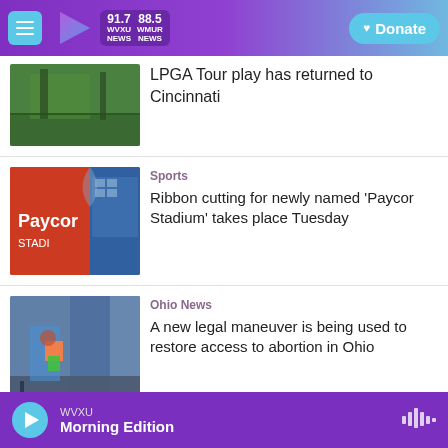WVXU 91.7 NEWS | WHUR 88.5 NEWS | Donate
LPGA Tour play has returned to Cincinnati
Sports
Ribbon cutting for newly named 'Paycor Stadium' takes place Tuesday
Ohio News
A new legal maneuver is being used to restore access to abortion in Ohio
WVXU Morning Edition